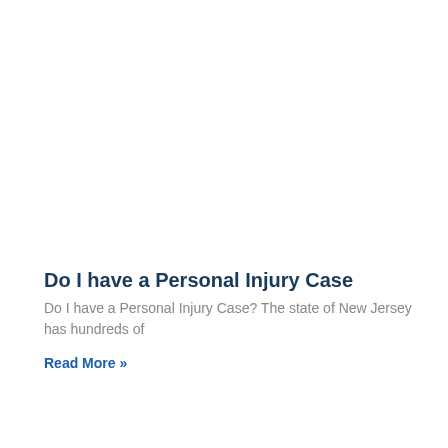Do I have a Personal Injury Case
Do I have a Personal Injury Case? The state of New Jersey has hundreds of
Read More »